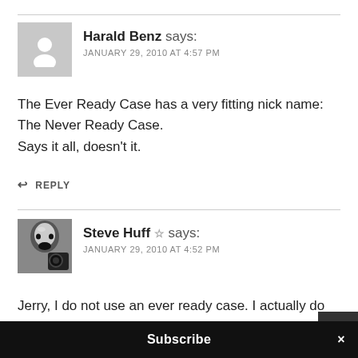Harald Benz says: JANUARY 29, 2010 AT 4:57 PM
The Ever Ready Case has a very fitting nick name: The Never Ready Case.
Says it all, doesn't it.
REPLY
Steve Huff ☆ says: JANUARY 29, 2010 AT 4:52 PM
Jerry, I do not use an ever ready case. I actually do not use any case at all, just a strap around my body.
Subscribe